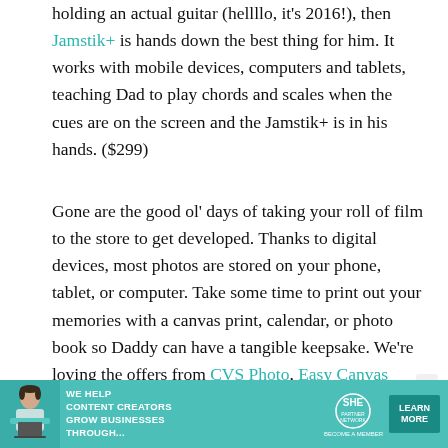holding an actual guitar (hellllo, it's 2016!), then Jamstik+ is hands down the best thing for him. It works with mobile devices, computers and tablets, teaching Dad to play chords and scales when the cues are on the screen and the Jamstik+ is in his hands. ($299)
Gone are the good ol' days of taking your roll of film to the store to get developed. Thanks to digital devices, most photos are stored on your phone, tablet, or computer. Take some time to print out your memories with a canvas print, calendar, or photo book so Daddy can have a tangible keepsake. We're loving the offers from CVS Photo, Easy Canvas Prints, and Mixbook.
Sporty Daddy
[Figure (infographic): Teal advertisement banner: 'WE HELP CONTENT CREATORS GROW BUSINESSES THROUGH...' with SHE PARTNER NETWORK logo and a LEARN MORE button. Woman with laptop on left side.]